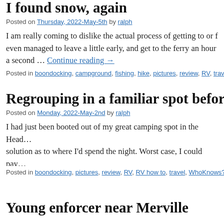I found snow, again
Posted on Thursday, 2022-May-5th by ralph
I am really coming to dislike the actual process of getting to or f… even managed to leave a little early, and get to the ferry an hour… a second … Continue reading →
Posted in boondocking, campground, fishing, hike, pictures, review, RV, trave…
Regrouping in a familiar spot before leav…
Posted on Monday, 2022-May-2nd by ralph
I had just been booted out of my great camping spot in the Head… solution as to where I'd spend the night. Worst case, I could pay… Continue reading →
Posted in boondocking, pictures, review, RV, RV how to, travel, WhoKnows?
Young enforcer near Merville